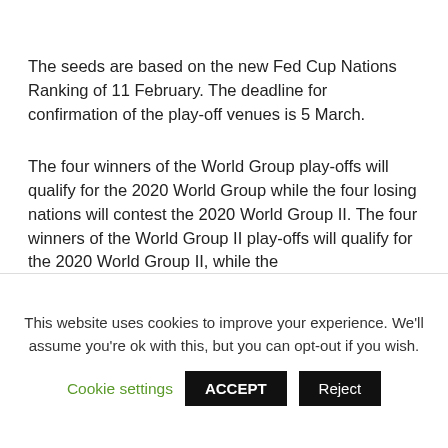The seeds are based on the new Fed Cup Nations Ranking of 11 February. The deadline for confirmation of the play-off venues is 5 March.
The four winners of the World Group play-offs will qualify for the 2020 World Group while the four losing nations will contest the 2020 World Group II. The four winners of the World Group II play-offs will qualify for the 2020 World Group II, while the
This website uses cookies to improve your experience. We'll assume you're ok with this, but you can opt-out if you wish.
Cookie settings | ACCEPT | Reject